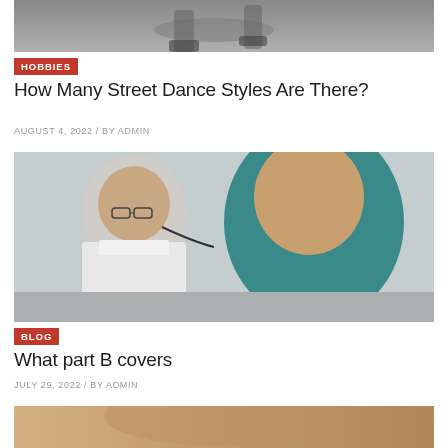[Figure (photo): Partial top photo showing street dancer's feet and legs on pavement, cropped]
HOBBIES
How Many Street Dance Styles Are There?
AUGUST 4, 2022 / BY ADMIN
[Figure (photo): Doctor with stethoscope examining elderly patient, both facing down]
BLOG
What part B covers
JULY 29, 2022 / BY ADMIN
[Figure (photo): Partial bottom photo, cropped, showing warm skin tones]